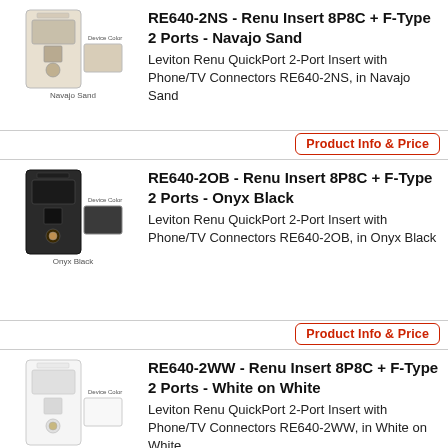[Figure (photo): Leviton Renu Insert wall plate in Navajo Sand color with a color swatch labeled 'Navajo Sand']
RE640-2NS - Renu Insert 8P8C + F-Type 2 Ports - Navajo Sand
Leviton Renu QuickPort 2-Port Insert with Phone/TV Connectors RE640-2NS, in Navajo Sand
Product Info & Price
[Figure (photo): Leviton Renu Insert wall plate in Onyx Black color with a color swatch labeled 'Onyx Black']
RE640-2OB - Renu Insert 8P8C + F-Type 2 Ports - Onyx Black
Leviton Renu QuickPort 2-Port Insert with Phone/TV Connectors RE640-2OB, in Onyx Black
Product Info & Price
[Figure (photo): Leviton Renu Insert wall plate in White on White color with a color swatch labeled 'White on White']
RE640-2WW - Renu Insert 8P8C + F-Type 2 Ports - White on White
Leviton Renu QuickPort 2-Port Insert with Phone/TV Connectors RE640-2WW, in White on White
Product Info & Price